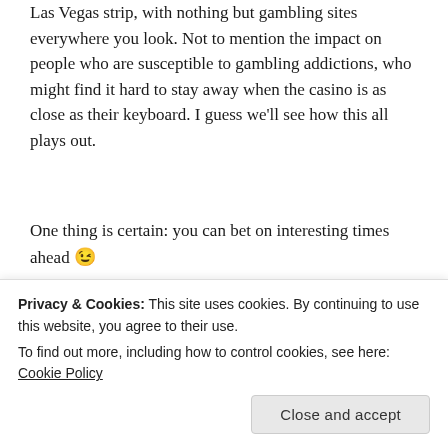Las Vegas strip, with nothing but gambling sites everywhere you look. Not to mention the impact on people who are susceptible to gambling addictions, who might find it hard to stay away when the casino is as close as their keyboard. I guess we'll see how this all plays out.
One thing is certain: you can bet on interesting times ahead 😉
[Figure (photo): Interior of a casino with purple/violet neon lighting, ceiling lights visible, and gaming machines on the right side.]
Privacy & Cookies: This site uses cookies. By continuing to use this website, you agree to their use.
To find out more, including how to control cookies, see here: Cookie Policy
Close and accept